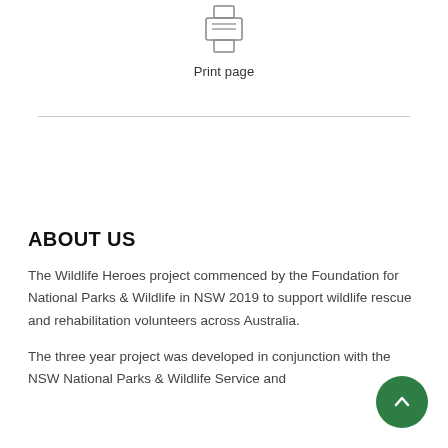[Figure (illustration): Printer icon (line drawing of a printer with paper tray)]
Print page
ABOUT US
The Wildlife Heroes project commenced by the Foundation for National Parks & Wildlife in NSW 2019 to support wildlife rescue and rehabilitation volunteers across Australia.
The three year project was developed in conjunction with the NSW National Parks & Wildlife Service and